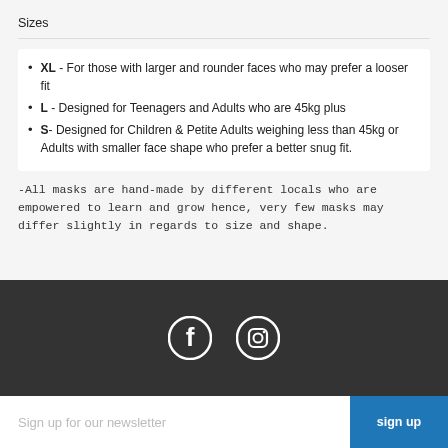Sizes
XL - For those with larger and rounder faces who may prefer a looser fit
L - Designed for Teenagers and Adults who are 45kg plus
S- Designed for Children & Petite Adults weighing less than 45kg or Adults with smaller face shape who prefer a better snug fit.
-All masks are hand-made by different locals who are empowered to learn and grow hence, very few masks may differ slightly in regards to size and shape.
[Figure (infographic): Social media icons: Facebook (f) and Instagram (camera icon) on dark background]
Sign up for our newsletter
sign up